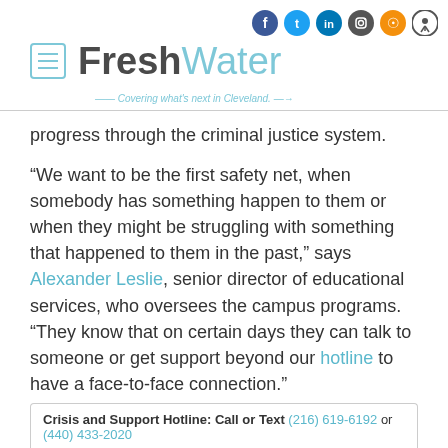FreshWater — Covering what's next in Cleveland.
progress through the criminal justice system.
“We want to be the first safety net, when somebody has something happen to them or when they might be struggling with something that happened to them in the past,” says Alexander Leslie, senior director of educational services, who oversees the campus programs. “They know that on certain days they can talk to someone or get support beyond our hotline to have a face-to-face connection.”
Crisis and Support Hotline: Call or Text (216) 619-6192 or (440) 433-2020